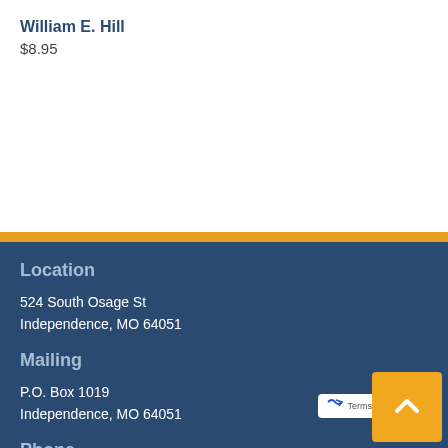William E. Hill
$8.95
Location
524 South Osage St
Independence, MO 64051
Mailing
P.O. Box 1019
Independence, MO 64051
Phone
(816) 252-2276 Local
(816) 836-0989 Fax